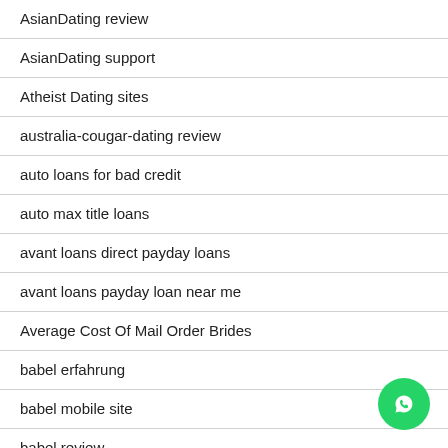AsianDating review
AsianDating support
Atheist Dating sites
australia-cougar-dating review
auto loans for bad credit
auto max title loans
avant loans direct payday loans
avant loans payday loan near me
Average Cost Of Mail Order Brides
babel erfahrung
babel mobile site
babel review
Babes Couple Live XXX Cam